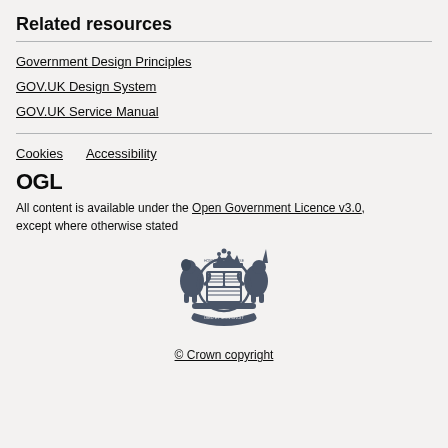Related resources
Government Design Principles
GOV.UK Design System
GOV.UK Service Manual
Cookies   Accessibility
[Figure (logo): OGL logo text in bold]
All content is available under the Open Government Licence v3.0, except where otherwise stated
[Figure (logo): UK Government Royal Coat of Arms crest in dark grey]
© Crown copyright